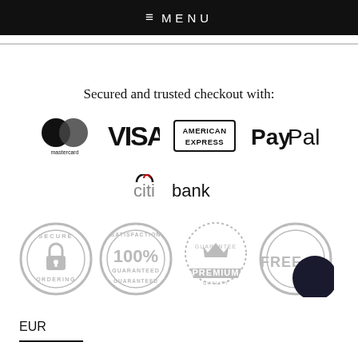☰ MENU
Secured and trusted checkout with:
[Figure (logo): Payment logos: Mastercard, VISA, American Express, PayPal]
[Figure (logo): Citibank logo]
[Figure (infographic): Trust badges: Secure Ordering, Satisfaction 100% Guaranteed, Premium Guarantee Quality, Free (partially obscured)]
EUR